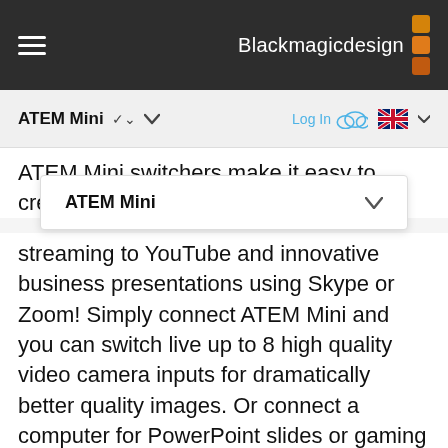Blackmagicdesign
ATEM Mini ∨
ATEM Mini
ATEM Mini switchers make it easy to create streaming to YouTube and innovative business presentations using Skype or Zoom! Simply connect ATEM Mini and you can switch live up to 8 high quality video camera inputs for dramatically better quality images. Or connect a computer for PowerPoint slides or gaming consoles. The built in DVE allows exciting picture in picture effects, perfect for commentary! There are loads of video effects too! All ATEM Mini models have USB that